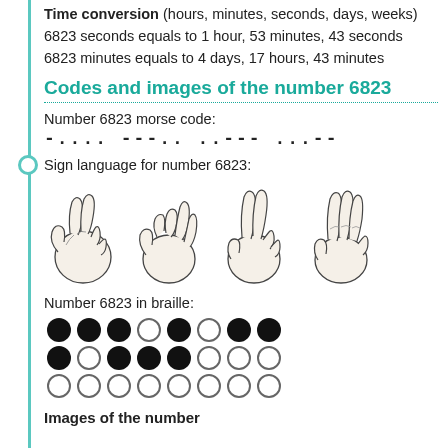6823 kilowatts (kW) equals to 9171.90 horsepower (hp)
Time conversion (hours, minutes, seconds, days, weeks)
6823 seconds equals to 1 hour, 53 minutes, 43 seconds
6823 minutes equals to 4 days, 17 hours, 43 minutes
Codes and images of the number 6823
Number 6823 morse code:
-.... ---.. ..--- ...--
Sign language for number 6823:
[Figure (illustration): Four hand signs showing digits 6, 8, 2, 3 in sign language]
Number 6823 in braille:
[Figure (other): Braille dots for number 6823 arranged in 3 rows of 8 dots each]
Images of the number